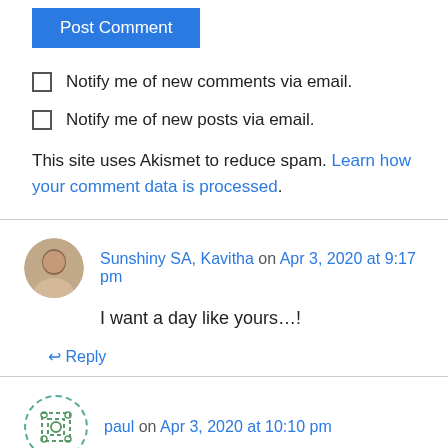Post Comment
Notify me of new comments via email.
Notify me of new posts via email.
This site uses Akismet to reduce spam. Learn how your comment data is processed.
Sunshiny SA, Kavitha on Apr 3, 2020 at 9:17 pm
I want a day like yours…!
Reply
paul on Apr 3, 2020 at 10:10 pm
I think we all need to consider enlarging our veg